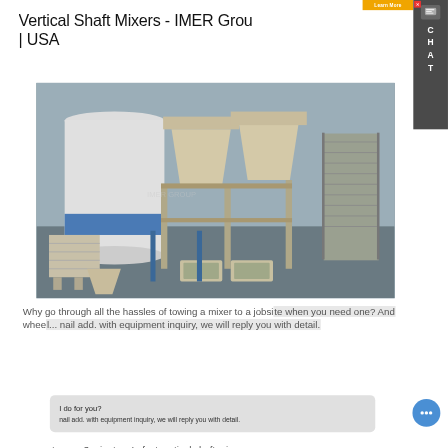Vertical Shaft Mixers - IMER Group | USA
[Figure (photo): Industrial vertical shaft mixer installation inside a factory building, showing large hopper bins, conveyors, silos, and control panels on a steel frame structure.]
Why go through all the hassles of towing a mixer to a jobsite when you need one? And managing all the weight of a mixer on wheels
cement every 3 minutes. In fact vertical shaft mixers